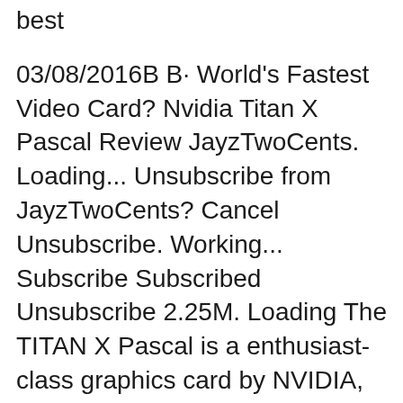best
03/08/2016B B· World's Fastest Video Card? Nvidia Titan X Pascal Review JayzTwoCents. Loading... Unsubscribe from JayzTwoCents? Cancel Unsubscribe. Working... Subscribe Subscribed Unsubscribe 2.25M. Loading The TITAN X Pascal is a enthusiast-class graphics card by NVIDIA, launched in August 2016. Built on the 16 nm process, and based on the GP102 graphics processor, in its GP102-400-A1 variant, the card supports DirectX 12.0.
Nvidia Titan X (Pascal) Review In this article we'll look at something that rises like Phoenix, the new generation Nvidia